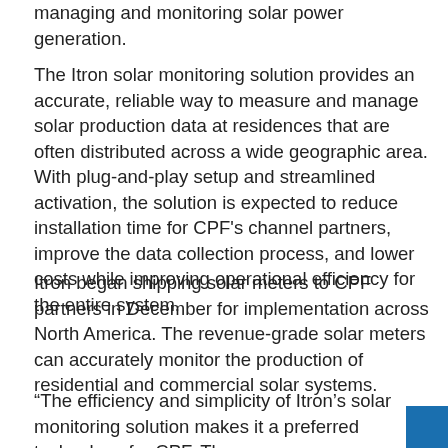managing and monitoring solar power generation.
The Itron solar monitoring solution provides an accurate, reliable way to measure and manage solar production data at residences that are often distributed across a wide geographic area. With plug-and-play setup and streamlined activation, the solution is expected to reduce installation time for CPF's channel partners, improve the data collection process, and lower costs while improving operational efficiency for the entire system.
Itron began shipping solar meters to CPF partners in December for implementation across North America. The revenue-grade solar meters can accurately monitor the production of residential and commercial solar systems.
“The efficiency and simplicity of Itron’s solar monitoring solution makes it a preferred technology for CPF. The